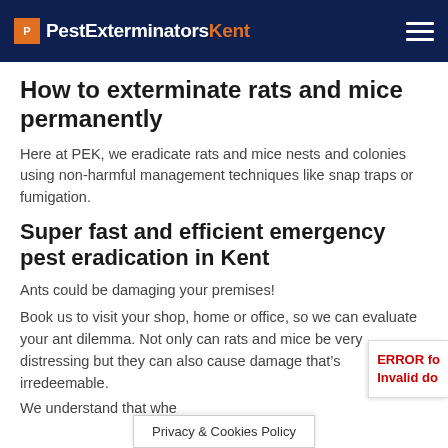PestExterminatorsKent
How to exterminate rats and mice permanently
Here at PEK, we eradicate rats and mice nests and colonies using non-harmful management techniques like snap traps or fumigation.
Super fast and efficient emergency pest eradication in Kent
Ants could be damaging your premises!
Book us to visit your shop, home or office, so we can evaluate your ant dilemma. Not only can rats and mice be very distressing but they can also cause damage that’s irredeemable.
We understand that whe...
Privacy & Cookies Policy
ERROR for Invalid do